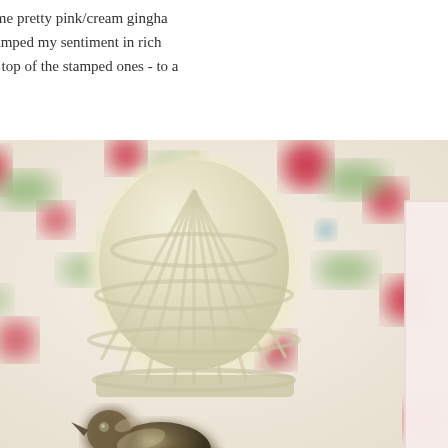I found some pretty pink/cream gingham heart...I stamped my sentiment in rich flowers on top of the stamped ones - to a
[Figure (photo): A decorative white birdcage ornament photographed against a pink/cream floral gingham background with red and green flower patterns. A metallic/silver bird figurine sits at the bottom of the image. On the right edge, a pink-bordered card or paper is partially visible.]